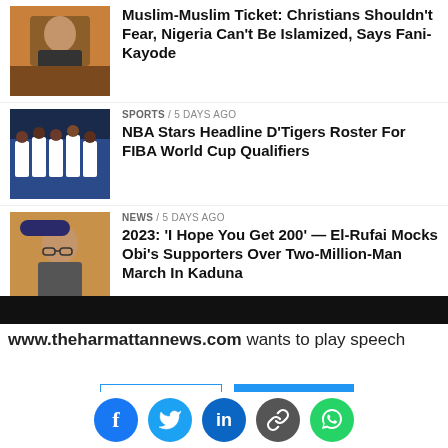[Figure (photo): Portrait photo of Fani-Kayode seated at a desk]
Muslim-Muslim Ticket: Christians Shouldn't Fear, Nigeria Can't Be Islamized, Says Fani-Kayode
[Figure (photo): Nigeria D'Tigers basketball team group photo in white uniforms]
SPORTS / 5 days ago
NBA Stars Headline D'Tigers Roster For FIBA World Cup Qualifiers
[Figure (photo): Portrait photo of El-Rufai]
NEWS / 5 days ago
2023: 'I Hope You Get 200' — El-Rufai Mocks Obi's Supporters Over Two-Million-Man March In Kaduna
www.theharmattannews.com wants to play speech
DENY
ALLOW